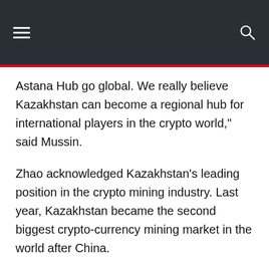Astana Hub go global. We really believe Kazakhstan can become a regional hub for international players in the crypto world," said Mussin.
Zhao acknowledged Kazakhstan’s leading position in the crypto mining industry. Last year, Kazakhstan became the second biggest crypto-currency mining market in the world after China.
“Growing crypto adoption around the world to have a positive impact on society as a whole, is one of our primary goals,” said Zhao, who is also the wealthiest person in crypto, 19th in Forbes’ 2022 Billionaires ranking. “Kazakhstan is one of the world leaders in the crypto mining industry. The country was one of the first in the world to introduce the legalization of mining. We believe that, in full cooperation with the local authorities, Binance can make a great contribution to the development of the local crypto